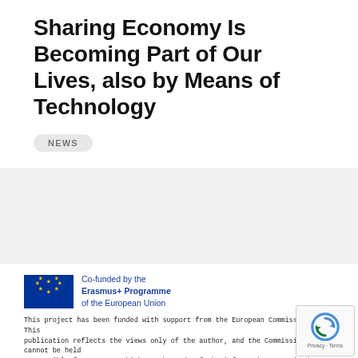Sharing Economy Is Becoming Part of Our Lives, also by Means of Technology
NEWS
[Figure (logo): EU flag logo with text: Co-funded by the Erasmus+ Programme of the European Union]
This project has been funded with support from the European Commission. This publication reflects the views only of the author, and the Commission cannot be held responsible for any use which may be made of the information contained therein.